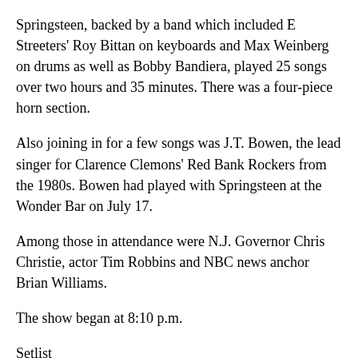Springsteen, backed by a band which included E Streeters' Roy Bittan on keyboards and Max Weinberg on drums as well as Bobby Bandiera, played 25 songs over two hours and 35 minutes. There was a four-piece horn section.
Also joining in for a few songs was J.T. Bowen, the lead singer for Clarence Clemons' Red Bank Rockers from the 1980s. Bowen had played with Springsteen at the Wonder Bar on July 17.
Among those in attendance were N.J. Governor Chris Christie, actor Tim Robbins and NBC news anchor Brian Williams.
The show began at 8:10 p.m.
Setlist
1. 634-5789
2. Working on the Highway
3. Lucky Day
Bruce told a story about meeting some fans from